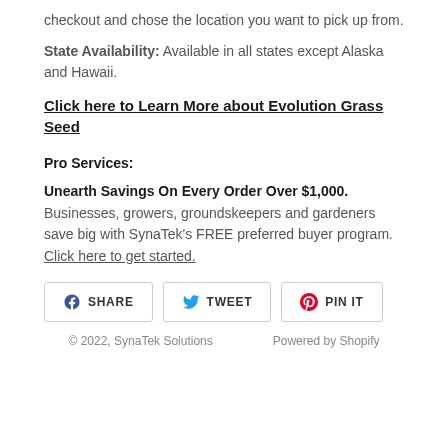checkout and chose the location you want to pick up from.
State Availability: Available in all states except Alaska and Hawaii.
Click here to Learn More about Evolution Grass Seed
Pro Services:
Unearth Savings On Every Order Over $1,000. Businesses, growers, groundskeepers and gardeners save big with SynaTek's FREE preferred buyer program. Click here to get started.
[Figure (other): Social sharing buttons: SHARE (Facebook), TWEET (Twitter), PIN IT (Pinterest)]
© 2022, SynaTek Solutions    Powered by Shopify